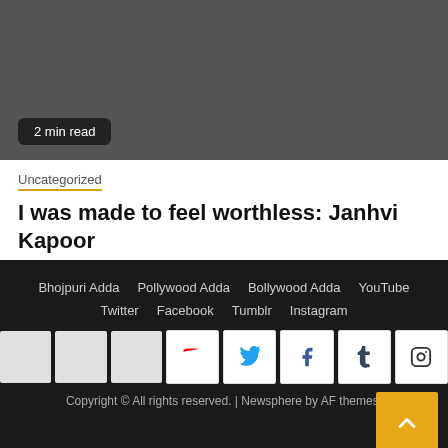[Figure (photo): Dark gray image area at top of page]
2 min read
Uncategorized
I was made to feel worthless: Janhvi Kapoor
3 weeks ago  Dalvinder Dhiman
Bhojpuri Adda  Pollywood Adda  Bollywood Adda  YouTube  Twitter  Facebook  Tumblr  Instagram  Copyright © All rights reserved. | Newsphere by AF themes.